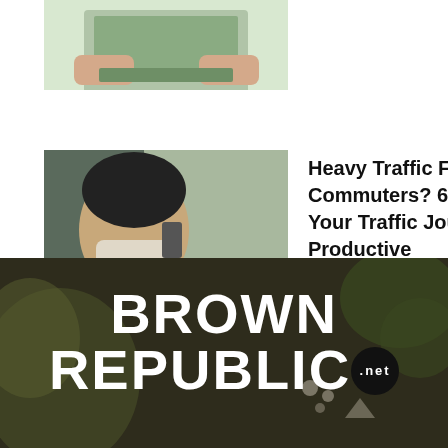[Figure (photo): Person using a laptop, hands on keyboard, partial view from above on a white background]
[Figure (photo): Young Asian woman wearing a face mask, sitting in a car, talking on the phone]
Heavy Traffic For Intern Commuters? 6 Tips To Make Your Traffic Journey Productive
[Figure (logo): 3x3 grid of squares in varying shades of brown, dark brown, and light gray/white forming a logo pattern]
[Figure (logo): Brown Republic .net logo in large bold white text on a dark brown/olive background with food items visible]